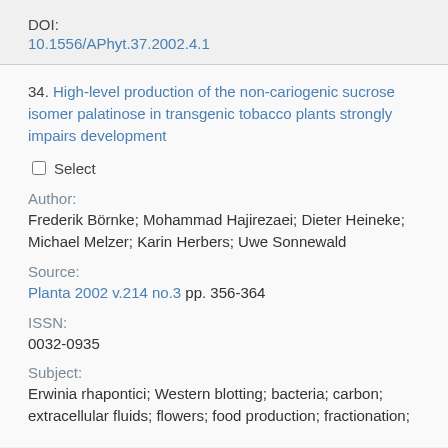DOI:
10.1556/APhyt.37.2002.4.1
34. High-level production of the non-cariogenic sucrose isomer palatinose in transgenic tobacco plants strongly impairs development
Select
Author:
Frederik Börnke; Mohammad Hajirezaei; Dieter Heineke; Michael Melzer; Karin Herbers; Uwe Sonnewald
Source:
Planta 2002 v.214 no.3 pp. 356-364
ISSN:
0032-0935
Subject:
Erwinia rhapontici; Western blotting; bacteria; carbon; extracellular fluids; flowers; food production; fractionation;